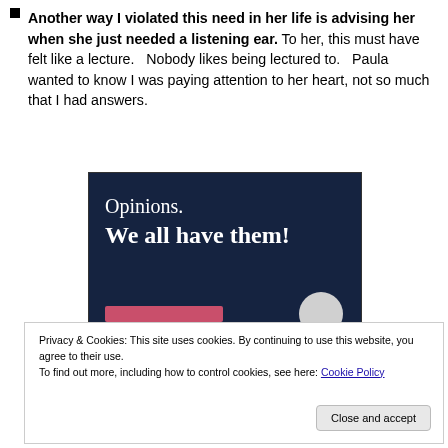Another way I violated this need in her life is advising her when she just needed a listening ear. To her, this must have felt like a lecture.   Nobody likes being lectured to.   Paula wanted to know I was paying attention to her heart, not so much that I had answers.
[Figure (illustration): Dark navy background image with white text reading 'Opinions.' and 'We all have them!' with a pink button bar and grey circle at bottom.]
Privacy & Cookies: This site uses cookies. By continuing to use this website, you agree to their use.
To find out more, including how to control cookies, see here: Cookie Policy